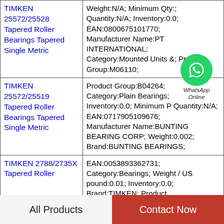| Product Name | Details |
| --- | --- |
| TIMKEN 25572/25528 Tapered Roller Bearings Tapered Single Metric | Weight:N/A; Minimum Qty:; Quantity:N/A; Inventory:0.0; EAN:0800675101770; Manufacturer Name:PT INTERNATIONAL; Category:Mounted Units &; Product Group:M06110; |
| TIMKEN 25572/25519 Tapered Roller Bearings Tapered Single Metric | Product Group:B04264; Category:Plain Bearings; Inventory:0.0; Minimum P Quantity:N/A; EAN:0717905109676; Manufacturer Name:BUNTING BEARING CORP; Weight:0.002; Brand:BUNTING BEARINGS; |
| TIMKEN 2788/2735X Tapered Roller | EAN:0053893362731; Category:Bearings; Weight / US pound:0.01; Inventory:0.0; Brand:TIMKEN; Product |
[Figure (logo): WhatsApp Online green circle logo with phone icon and text 'WhatsApp Online']
All Products   Contact Now